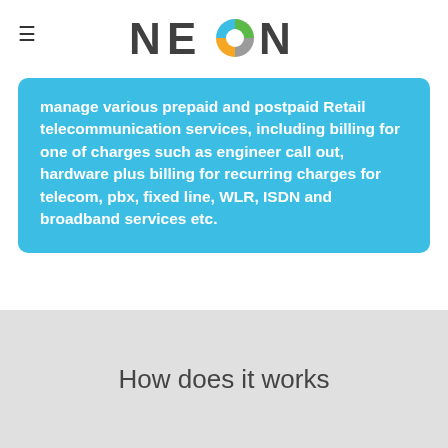NEON
manage various prepaid and postpaid Retail telecommunication services, including billing for one of charges such as engineer call out, hardware plus billing for recurring charges for telecom, pbx, fixed line, WLR, ISDN and broadband services etc.
How does it works